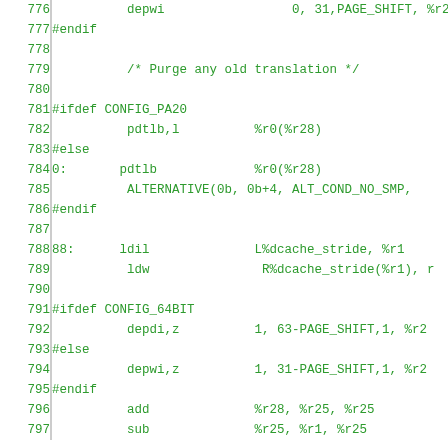Code listing lines 776-797, assembly source code with preprocessor directives
776    depwi                 0, 31,PAGE_SHIFT, %r28
777 #endif
778
779          /* Purge any old translation */
780
781 #ifdef CONFIG_PA20
782          pdtlb,l          %r0(%r28)
783 #else
784 0:       pdtlb             %r0(%r28)
785          ALTERNATIVE(0b, 0b+4, ALT_COND_NO_SMP,
786 #endif
787
788 88:      ldil              L%dcache_stride, %r1
789          ldw               R%dcache_stride(%r1), r
790
791 #ifdef CONFIG_64BIT
792          depdi,z          1, 63-PAGE_SHIFT,1, %r2
793 #else
794          depwi,z          1, 31-PAGE_SHIFT,1, %r2
795 #endif
796          add              %r28, %r25, %r25
797          sub              %r25, %r1, %r25